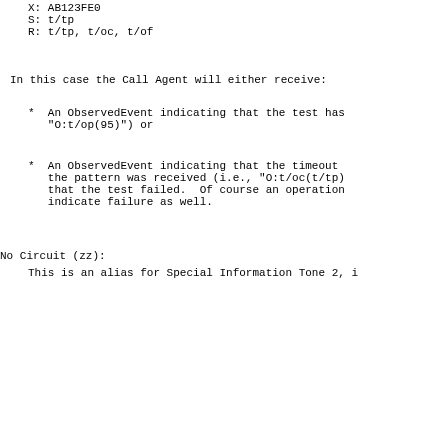X: AB123FE0
S: t/tp
R: t/tp, t/oc, t/of
In this case the Call Agent will either receive:
An ObservedEvent indicating that the test has "O:t/op(95)") or
An ObservedEvent indicating that the timeout the pattern was received (i.e., "O:t/oc(t/tp) that the test failed.  Of course an operation indicate failure as well.
No Circuit (zz):
This is an alias for Special Information Tone 2, i